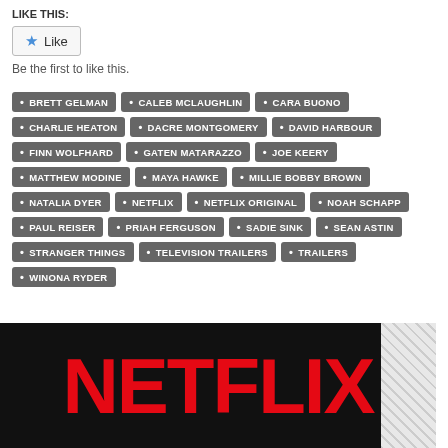LIKE THIS:
[Figure (other): Like button with star icon]
Be the first to like this.
BRETT GELMAN
CALEB MCLAUGHLIN
CARA BUONO
CHARLIE HEATON
DACRE MONTGOMERY
DAVID HARBOUR
FINN WOLFHARD
GATEN MATARAZZO
JOE KEERY
MATTHEW MODINE
MAYA HAWKE
MILLIE BOBBY BROWN
NATALIA DYER
NETFLIX
NETFLIX ORIGINAL
NOAH SCHAPP
PAUL REISER
PRIAH FERGUSON
SADIE SINK
SEAN ASTIN
STRANGER THINGS
TELEVISION TRAILERS
TRAILERS
WINONA RYDER
[Figure (logo): Netflix logo in red on black background]